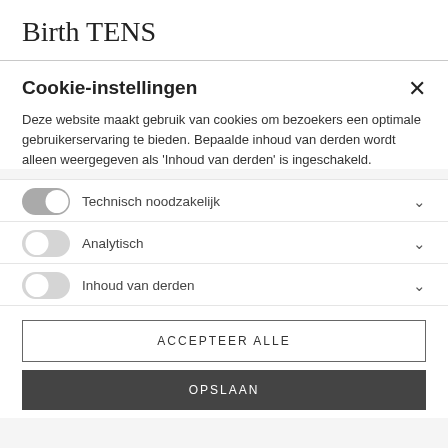Birth TENS
Cookie-instellingen
Deze website maakt gebruik van cookies om bezoekers een optimale gebruikerservaring te bieden. Bepaalde inhoud van derden wordt alleen weergegeven als 'Inhoud van derden' is ingeschakeld.
Technisch noodzakelijk
Analytisch
Inhoud van derden
ACCEPTEER ALLE
OPSLAAN